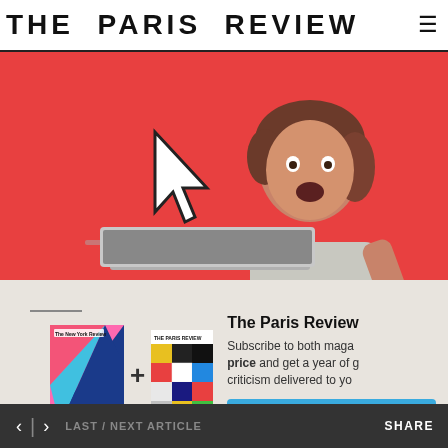THE PARIS REVIEW
[Figure (photo): Woman with surprised/excited expression on red/coral background, with a large mouse cursor graphic and a laptop visible. Subscription promotional image.]
[Figure (infographic): Subscription card with two magazine covers (The New York Review + The Paris Review) joined by a plus sign, with text 'The Paris Review' and 'Subscribe to both magazines at one price and get a year of great criticism delivered to you.' and a blue 'Subscribe Now' button.]
[Figure (illustration): Partial view of a blue illustrated eagle or bird graphic at the bottom of the page.]
< > LAST / NEXT ARTICLE    SHARE